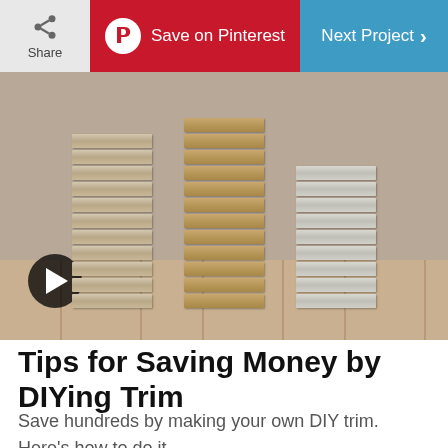Share | Save on Pinterest | Next Project
[Figure (photo): Stacked tiles or trim pieces with metallic and wood-tone colors on a wooden floor background, with a video play button overlay]
Tips for Saving Money by DIYing Trim
Save hundreds by making your own DIY trim. Here's how to do it.